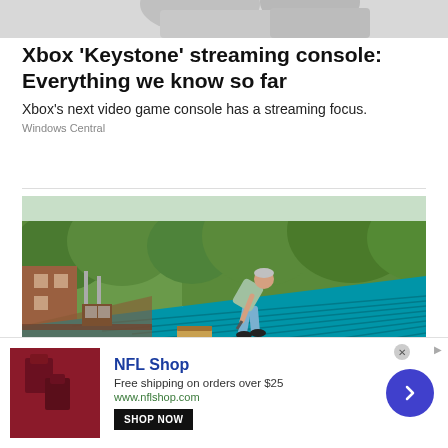[Figure (photo): Partial top strip showing what appears to be a device or product image, cropped at the top of the page.]
Xbox 'Keystone' streaming console: Everything we know so far
Xbox's next video game console has a streaming focus.
Windows Central
[Figure (photo): Person working on a blue metal roof, bending over to install or fix panels. Background shows trees and brick buildings.]
[Figure (photo): NFL Shop advertisement. Shows dark red/maroon NFL branded merchandise. Text: NFL Shop. Free shipping on orders over $25. www.nflshop.com. SHOP NOW button. Blue circular arrow button on right.]